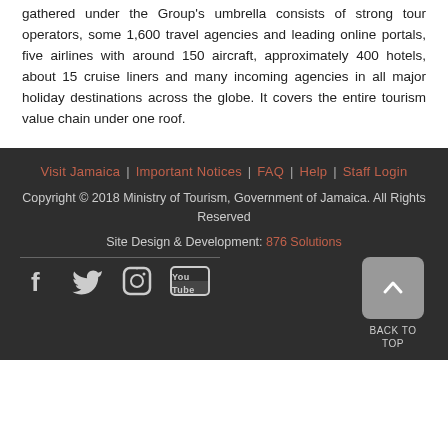gathered under the Group's umbrella consists of strong tour operators, some 1,600 travel agencies and leading online portals, five airlines with around 150 aircraft, approximately 400 hotels, about 15 cruise liners and many incoming agencies in all major holiday destinations across the globe. It covers the entire tourism value chain under one roof.
Visit Jamaica | Important Notices | FAQ | Help | Staff Login
Copyright © 2018 Ministry of Tourism, Government of Jamaica. All Rights Reserved
Site Design & Development: 876 Solutions